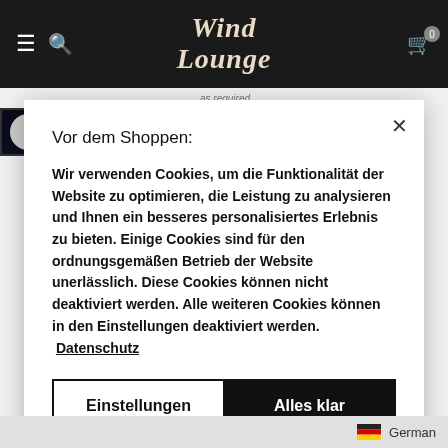Wind Lounge — navigation bar with hamburger menu, search icon, Wind Lounge logo, and cart icon with badge 0
as required
[Figure (screenshot): Dark background banner with circular logo and partial text 'UnfStand IP Alum...' product title partially visible]
Vor dem Shoppen:
Wir verwenden Cookies, um die Funktionalität der Website zu optimieren, die Leistung zu analysieren und Ihnen ein besseres personalisiertes Erlebnis zu bieten. Einige Cookies sind für den ordnungsgemäßen Betrieb der Website unerlässlich. Diese Cookies können nicht deaktiviert werden. Alle weiteren Cookies können in den Einstellungen deaktiviert werden. Datenschutz
Einstellungen | Alles klar
German